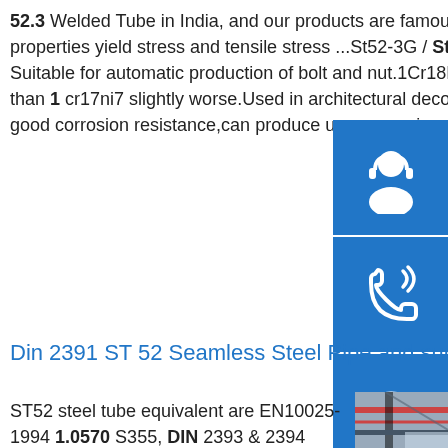52.3 Welded Tube in India, and our products are famous for their high standards.sp.info st52 3 steel properties yield stress and tensile stress ...St52-3G / St 52-3 G - Steel grades,Properties and Global Suitable for automatic production of bolt and nut.1Cr18Ni9.High strength cold forming,but elongation than 1 cr17ni7 slightly worse.Used in architectural decoration parts.1Cr18Mn10Ni5Mo3N.Of urea with good corrosion resistance,can produce urea corrosion of the equipment.1Cr17Ni7.
[Figure (infographic): Three blue square icons stacked vertically on the right side: headset/customer support icon, phone icon, Skype icon]
Din 2391 ST 52 Seamless Steel Pipe and supplier
ST52 steel tube equivalent are EN10025-1994 1.0570 S355, DIN 2393 & 2394 1.0570 ST 52-3 and DIN 2391-2 1.0580 ST 52. ST52 steel tubes are high strength
[Figure (photo): Industrial warehouse or factory interior showing stacked steel plates/sheets with structural steel beams and overhead crane visible]